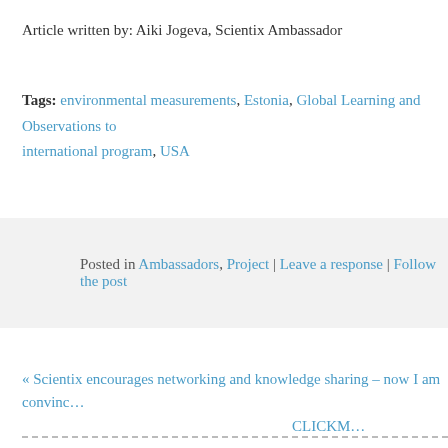Article written by: Aiki Jogeva, Scientix Ambassador
Tags: environmental measurements, Estonia, Global Learning and Observations to international program, USA
Posted in Ambassadors, Project | Leave a response | Follow the post
« Scientix encourages networking and knowledge sharing – now I am convinc… CLICKM…
Leave a Reply
Name (required)